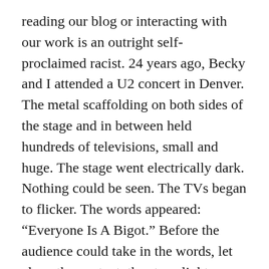reading our blog or interacting with our work is an outright self-proclaimed racist. 24 years ago, Becky and I attended a U2 concert in Denver. The metal scaffolding on both sides of the stage and in between held hundreds of televisions, small and huge. The stage went electrically dark. Nothing could be seen. The TVs began to flicker. The words appeared: “Everyone Is A Bigot.” Before the audience could take in the words, let alone the context, the stage lights flooded the audience and the band began to play the anthem to Martin Luther King Jr. Becky and I, and all whom we could see around us, were inexplicably in tears. The concert lasted several hours. By the time we walked to our cars, I forgot what the prophets had proclaimed to us.